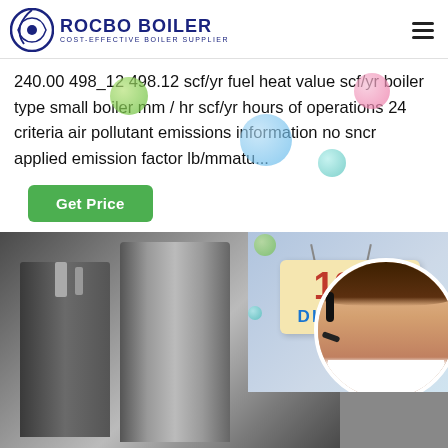ROCBO BOILER - COST-EFFECTIVE BOILER SUPPLIER
240.00 498_12 498.12 scf/yr fuel heat value scf/yr boiler type small boiler mm / hr scf/yr hours of operations 24 criteria air pollutant emissions information no sncr applied emission factor lb/mmatu...
[Figure (photo): Green Get Price button with decorative bubbles]
[Figure (photo): Industrial boiler equipment (FANGKUAI brand) with customer service representative circle and 10% DISCOUNT promotional badge]